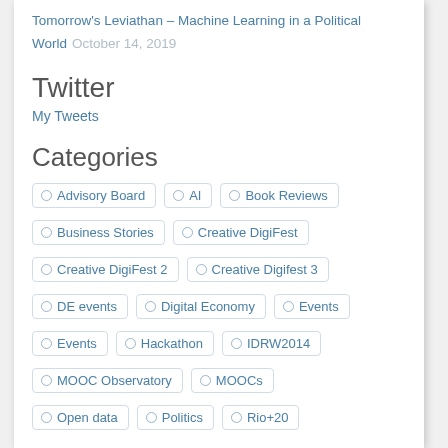Tomorrow's Leviathan – Machine Learning in a Political World  October 14, 2019
Twitter
My Tweets
Categories
Advisory Board
AI
Book Reviews
Business Stories
Creative DigiFest
Creative DigiFest 2
Creative Digifest 3
DE events
Digital Economy
Events
Events
Hackathon
IDRW2014
MOOC Observatory
MOOCs
Open data
Politics
Rio+20